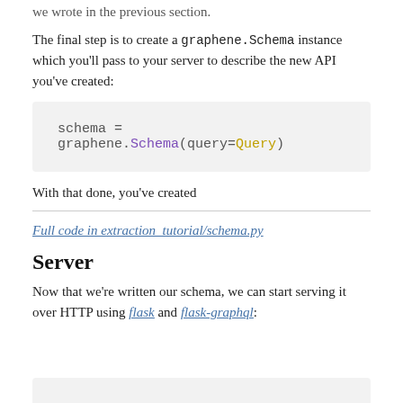we wrote in the previous section.
The final step is to create a graphene.Schema instance which you'll pass to your server to describe the new API you've created:
[Figure (screenshot): Code block showing: schema = graphene.Schema(query=Query)]
With that done, you've created
Full code in extraction_tutorial/schema.py
Server
Now that we're written our schema, we can start serving it over HTTP using flask and flask-graphql:
[Figure (screenshot): Code block (partial, bottom of page)]